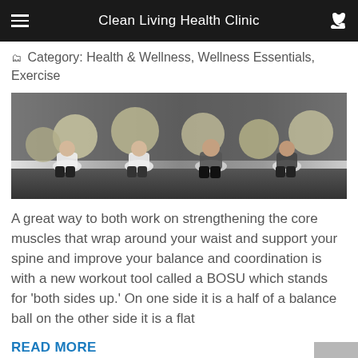Clean Living Health Clinic
Category: Health & Wellness, Wellness Essentials, Exercise
[Figure (photo): Group of people doing exercise with balance balls in a gym setting]
A great way to both work on strengthening the core muscles that wrap around your waist and support your spine and improve your balance and coordination is with a new workout tool called a BOSU which stands for 'both sides up.' On one side it is a half of a balance ball on the other side it is a flat
READ MORE